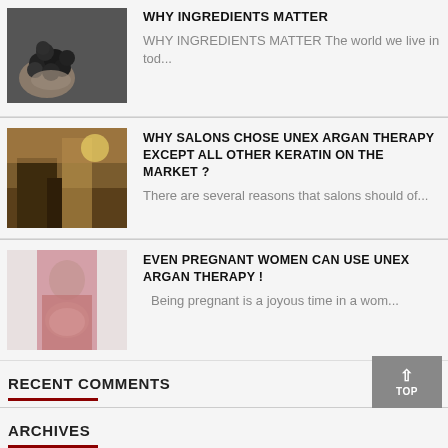[Figure (photo): Black and white photo of blueberries or similar dark berries in a cloth/bag]
WHY INGREDIENTS MATTER
WHY INGREDIENTS MATTER The world we live in tod…
[Figure (photo): Photo of salon interior with warm lighting]
WHY SALONS CHOSE UNEX ARGAN THERAPY EXCEPT ALL OTHER KERATIN ON THE MARKET ?
There are several reasons that salons should of…
[Figure (photo): Photo of pregnant woman in pink top]
EVEN PREGNANT WOMEN CAN USE UNEX ARGAN THERAPY !
Being pregnant is a joyous time in a wom…
RECENT COMMENTS
ARCHIVES
— January 2017